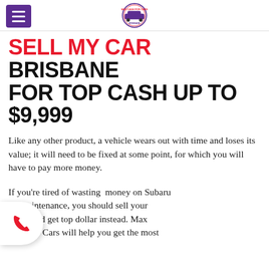Max Cash For Cars [logo]
SELL MY CAR BRISBANE FOR TOP CASH UP TO $9,999
Like any other product, a vehicle wears out with time and loses its value; it will need to be fixed at some point, for which you will have to pay more money.
If you're tired of wasting money on Subaru maintenance, you should sell your and get top dollar instead. Max Casn for Cars will help you get the most